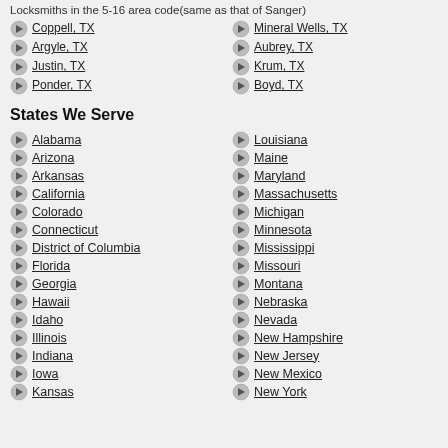Locksmiths in the 5-16 area code (same as that of Sanger)
Coppell, TX
Mineral Wells, TX
Argyle, TX
Aubrey, TX
Justin, TX
Krum, TX
Ponder, TX
Boyd, TX
States We Serve
Alabama
Louisiana
Arizona
Maine
Arkansas
Maryland
California
Massachusetts
Colorado
Michigan
Connecticut
Minnesota
District of Columbia
Mississippi
Florida
Missouri
Georgia
Montana
Hawaii
Nebraska
Idaho
Nevada
Illinois
New Hampshire
Indiana
New Jersey
Iowa
New Mexico
Kansas
New York